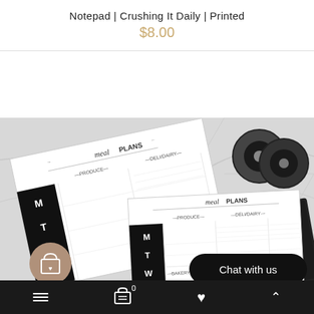Notepad | Crushing It Daily | Printed
$8.00
[Figure (photo): Black and white photo of printed meal plan notepads laid on a marble surface next to rolls of washi tape. The notepads show sections labeled 'Meal Plans', 'Produce', 'Deli/Dairy', 'Bakery', 'Pantry' with days of the week listed vertically.]
Navigation bar with menu, cart (0), heart/wishlist, and up/chevron icons